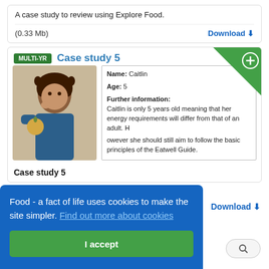A case study to review using Explore Food.
(0.33 Mb)
Download
[Figure (screenshot): Case study 5 card showing a young girl eating an apple, with a green MULTI-YR badge, a green corner ribbon with plus icon, and text panel showing Name: Caitlin, Age: 5, Further information about energy requirements and Eatwell Guide]
Case study 5
Food - a fact of life uses cookies to make the site simpler. Find out more about cookies
I accept